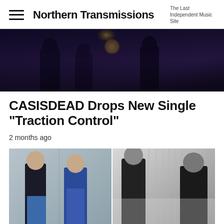Northern Transmissions — The Last Independent Music Site
[Figure (photo): Dark moody hero image with a glowing light source, figures in dark silhouette against deep blue/purple tones]
CASISDEAD Drops New Single “Traction Control”
2 months ago
[Figure (photo): Two side-by-side artist photos: left shows two men in streetwear (one in black jacket with blue trousers, one in blue jacket) against a grey wall; right shows two men in black outerwear photographed from below against a foggy background with vertical lines/ropes]